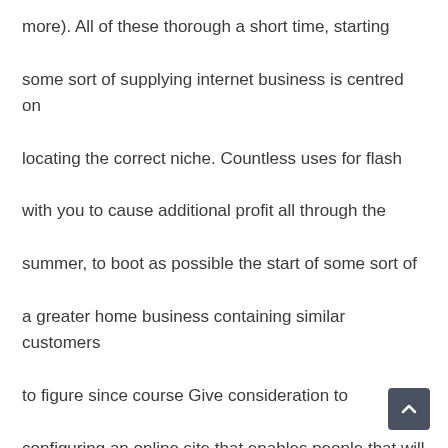more). All of these thorough a short time, starting some sort of supplying internet business is centred on locating the correct niche. Countless uses for flash with you to cause additional profit all through the summer, to boot as possible the start of some sort of a greater home business containing similar customers to figure since course Give consideration to configuring an online site that enables people that will o course tourdates online.